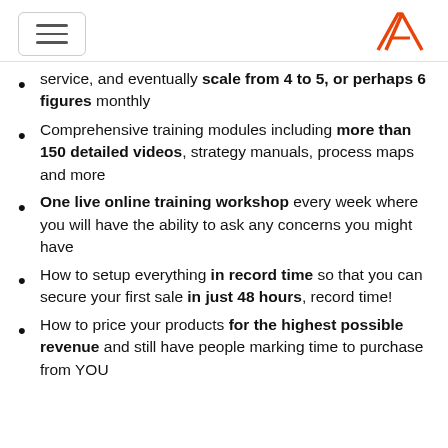Navigation header with hamburger menu and logo
service, and eventually scale from 4 to 5, or perhaps 6 figures monthly
Comprehensive training modules including more than 150 detailed videos, strategy manuals, process maps and more
One live online training workshop every week where you will have the ability to ask any concerns you might have
How to setup everything in record time so that you can secure your first sale in just 48 hours, record time!
How to price your products for the highest possible revenue and still have people marking time to purchase from YOU